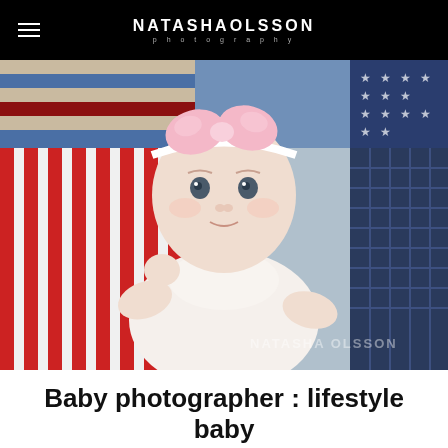NATASHA OLSSON photography
[Figure (photo): A baby girl lying on a patchwork quilt with red/white stripes, blue denim, and plaid sections. She wears a white dress and a pink bow headband, looking directly at the camera. Watermark reads NATASHA OLSSON.]
Baby photographer : lifestyle baby pictures